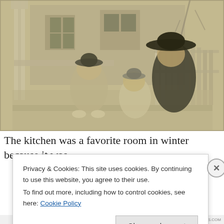[Figure (photo): Vintage sepia/greenish-tinted photograph of three children on a porch. Two smaller children sit in front, one larger child with a wide-brimmed hat crouches behind. White picket fence and house visible in background. Early 20th century style.]
The kitchen was a favorite room in winter because it was
Privacy & Cookies: This site uses cookies. By continuing to use this website, you agree to their use.
To find out more, including how to control cookies, see here: Cookie Policy
Close and accept